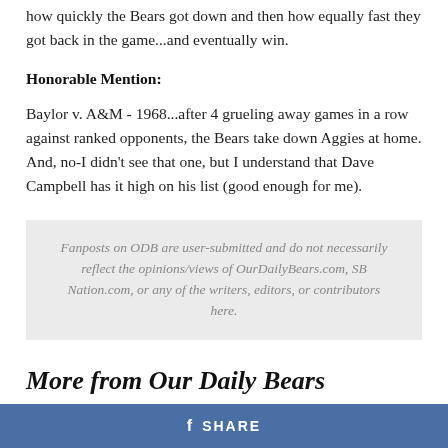how quickly the Bears got down and then how equally fast they got back in the game...and eventually win.
Honorable Mention:
Baylor v. A&M - 1968...after 4 grueling away games in a row against ranked opponents, the Bears take down Aggies at home. And, no-I didn't see that one, but I understand that Dave Campbell has it high on his list (good enough for me).
Fanposts on ODB are user-submitted and do not necessarily reflect the opinions/views of OurDailyBears.com, SB Nation.com, or any of the writers, editors, or contributors here.
More from Our Daily Bears
SHARE